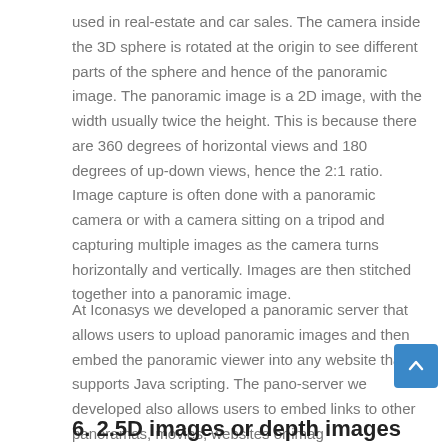used in real-estate and car sales. The camera inside the 3D sphere is rotated at the origin to see different parts of the sphere and hence of the panoramic image. The panoramic image is a 2D image, with the width usually twice the height. This is because there are 360 degrees of horizontal views and 180 degrees of up-down views, hence the 2:1 ratio. Image capture is often done with a panoramic camera or with a camera sitting on a tripod and capturing multiple images as the camera turns horizontally and vertically. Images are then stitched together into a panoramic image.
At Iconasys we developed a panoramic server that allows users to upload panoramic images and then embed the panoramic viewer into any website that supports Java scripting. The pano-server we developed also allows users to embed links to other panoramas, movies, websites or imag...
6. 2.5D images or depth images